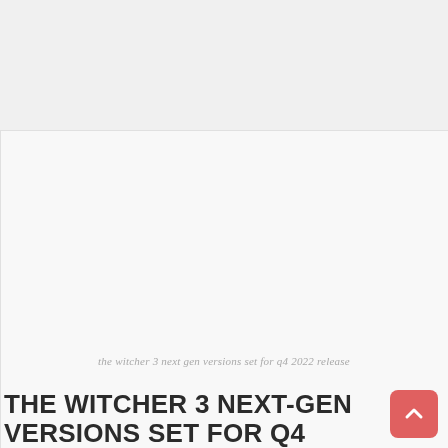[Figure (photo): Large image placeholder area for The Witcher 3 next-gen versions article, light gray background]
the witcher 3 next gen versions set for q4 2022 release
THE WITCHER 3 NEXT-GEN VERSIONS SET FOR Q4